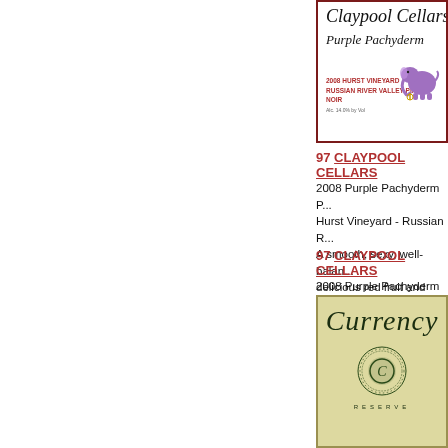[Figure (photo): Claypool Cellars Purple Pachyderm wine label with handwritten script title, red text for 2008 Hurst Vineyard Russian River Valley Pinot Noir, and purple elephant illustration]
97 CLAYPOOL CELLARS 2008 Purple Pachyderm P... Hurst Vineyard - Russian R... A smooth, sexy, well-balan... delicious red fruit and pepp... long, lingering, velvety finis...
97 CLAYPOOL CELLARS 2008 Purple Pachyderm P... Russian River Valley $42
[Figure (photo): Currency Reserve wine label with olive/tan background, cursive Currency script text, circular medallion with C logo, and RESERVE text]